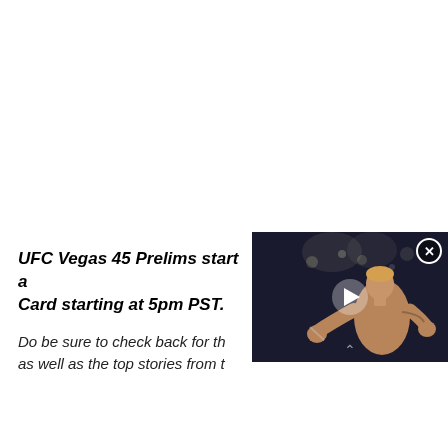UFC Vegas 45 Prelims start a… Card starting at 5pm PST.
[Figure (photo): Video overlay showing a boxer (Jake Paul) in a boxing ring, with a play button in the center and a close (X) button in the top right corner. The image also has a collapse arrow at the bottom.]
Do be sure to check back for th… as well as the top stories from …